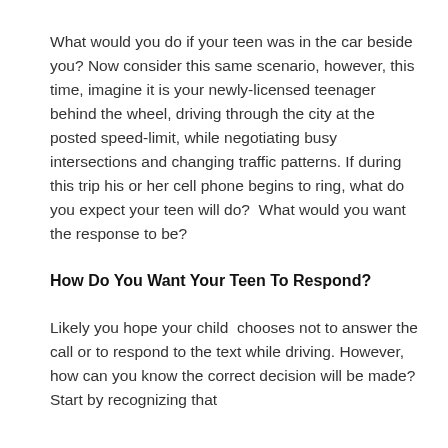What would you do if your teen was in the car beside you? Now consider this same scenario, however, this time, imagine it is your newly-licensed teenager behind the wheel, driving through the city at the posted speed-limit, while negotiating busy intersections and changing traffic patterns. If during this trip his or her cell phone begins to ring, what do you expect your teen will do?  What would you want the response to be?
How Do You Want Your Teen To Respond?
Likely you hope your child  chooses not to answer the call or to respond to the text while driving. However, how can you know the correct decision will be made? Start by recognizing that